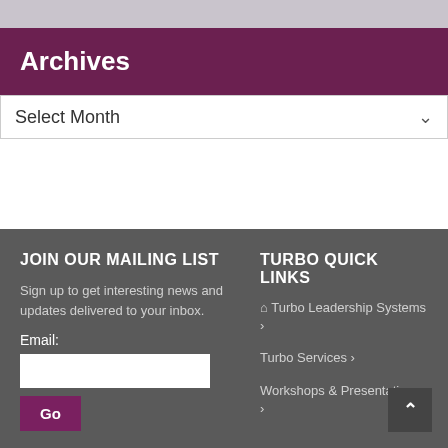Archives
Select Month
JOIN OUR MAILING LIST
Sign up to get interesting news and updates delivered to your inbox.
Email:
TURBO QUICK LINKS
Turbo Leadership Systems
Turbo Services
Workshops & Presentations